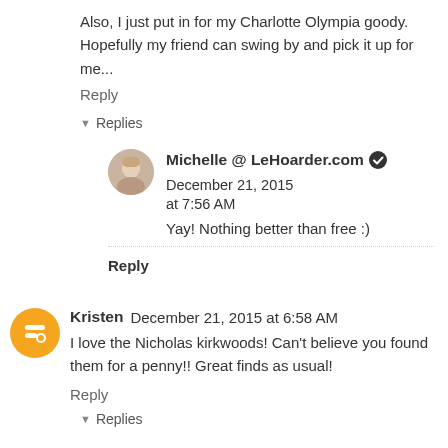Also, I just put in for my Charlotte Olympia goody. Hopefully my friend can swing by and pick it up for me...
Reply
▾ Replies
Michelle @ LeHoarder.com ✔ December 21, 2015 at 7:56 AM
Yay! Nothing better than free :)
Reply
Kristen  December 21, 2015 at 6:58 AM
I love the Nicholas kirkwoods! Can't believe you found them for a penny!! Great finds as usual!
Reply
▾ Replies